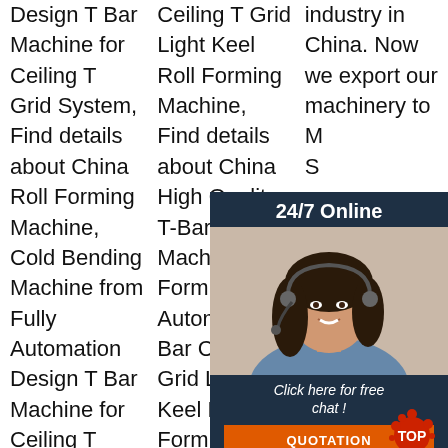Design T Bar Machine for Ceiling T Grid System, Find details about China Roll Forming Machine, Cold Bending Machine from Fully Automation Design T Bar Machine for Ceiling T Grid System - Hangzhou
Ceiling T Grid Light Keel Roll Forming Machine, Find details about China High Quality T-Bar Machine, Roll Forming from Automatic T Bar Ceiling T Grid Light Keel Roll Forming Machine - DongGuan KaiGui Machinery
industry in China. Now we export our machinery to M... S... so... a... al... fa... to... th... production lines and the old t-bar factories introduce our automatic
[Figure (infographic): Customer service chat widget overlay with '24/7 Online' header, photo of woman with headset, 'Click here for free chat!' text, and orange QUOTATION button. Also includes a decorative TOP badge in the bottom right.]